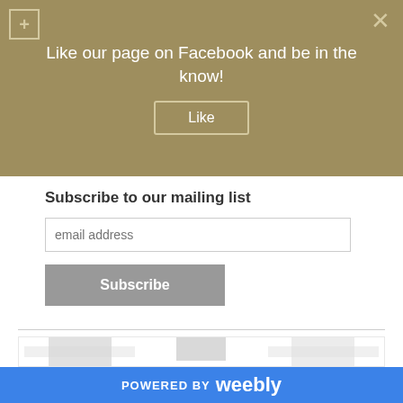Like our page on Facebook and be in the know!
Like
Subscribe to our mailing list
email address
Subscribe
[Figure (screenshot): Advertisement placeholder with gray image blocks]
POWERED BY weebly